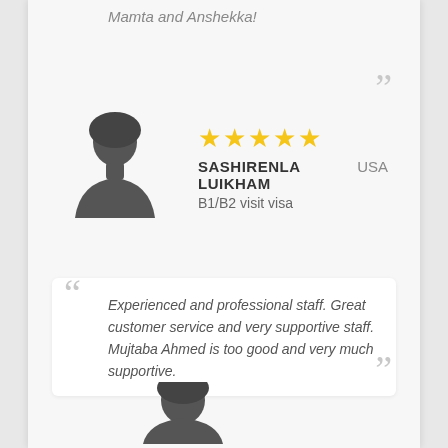Mamta and Anshekka!
[Figure (illustration): Female avatar silhouette icon for reviewer Sashirenla Luikham]
★★★★★
SASHIRENLA LUIKHAM   USA
B1/B2 visit visa
Experienced and professional staff. Great customer service and very supportive staff. Mujtaba Ahmed is too good and very much supportive.
[Figure (illustration): Partial female avatar silhouette at bottom of page]